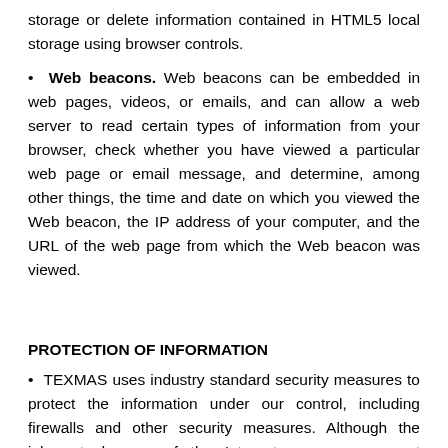storage or delete information contained in HTML5 local storage using browser controls.
• Web beacons. Web beacons can be embedded in web pages, videos, or emails, and can allow a web server to read certain types of information from your browser, check whether you have viewed a particular web page or email message, and determine, among other things, the time and date on which you viewed the Web beacon, the IP address of your computer, and the URL of the web page from which the Web beacon was viewed.
PROTECTION OF INFORMATION
• TEXMAS uses industry standard security measures to protect the information under our control, including firewalls and other security measures. Although the inherent dangers of the Internet mean we cannot guarantee the protection of